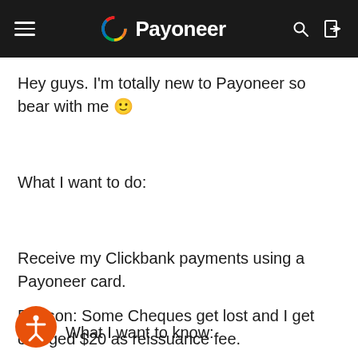Payoneer
Hey guys. I'm totally new to Payoneer so bear with me 🙂
What I want to do:
Receive my Clickbank payments using a Payoneer card.
Reason: Some Cheques get lost and I get charged $20 as reissuance fee.
What I want to know: